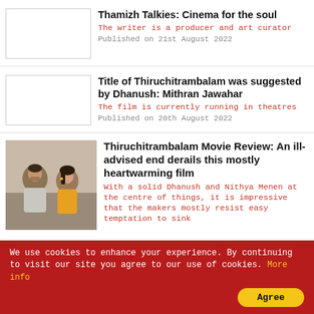Thamizh Talkies: Cinema for the soul
The writer is a producer and art curator
Published on 21st August 2022
Title of Thiruchitrambalam was suggested by Dhanush: Mithran Jawahar
The film is currently running in theatres
Published on 20th August 2022
[Figure (photo): Photo of two people from Thiruchitrambalam movie]
Thiruchitrambalam Movie Review: An ill-advised end derails this mostly heartwarming film
With a solid Dhanush and Nithya Menen at the centre of things, it is impressive that the makers mostly resist easy temptation to sink
We use cookies to enhance your experience. By continuing to visit our site you agree to our use of cookies. More info
Agree